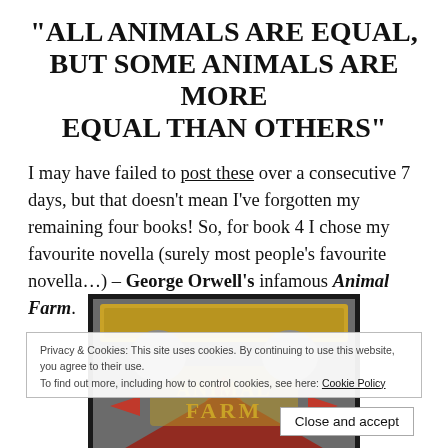“ALL ANIMALS ARE EQUAL, BUT SOME ANIMALS ARE MORE EQUAL THAN OTHERS”
I may have failed to post these over a consecutive 7 days, but that doesn’t mean I’ve forgotten my remaining four books! So, for book 4 I chose my favourite novella (surely most people’s favourite novella…) – George Orwell’s infamous Animal Farm.
[Figure (illustration): Book cover of Animal Farm by George Orwell, featuring stylized animals in a propaganda-poster style with red, grey and gold colors.]
Privacy & Cookies: This site uses cookies. By continuing to use this website, you agree to their use. To find out more, including how to control cookies, see here: Cookie Policy